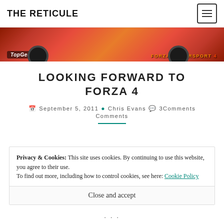THE RETICULE
[Figure (photo): A cropped photo of an orange/red racing car with TopGear and Forza Motorsport 4 branding visible]
LOOKING FORWARD TO FORZA 4
September 5, 2011  Chris Evans  3 Comments
Privacy & Cookies: This site uses cookies. By continuing to use this website, you agree to their use. To find out more, including how to control cookies, see here: Cookie Policy
Close and accept
...